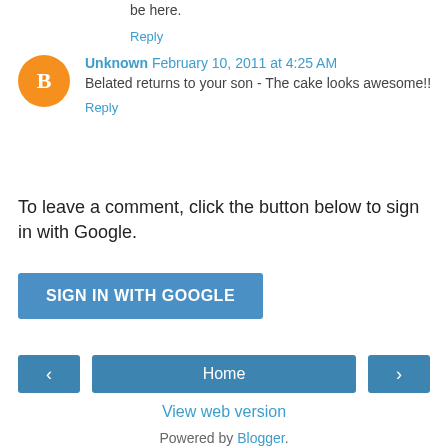be here.
Reply
Unknown  February 10, 2011 at 4:25 AM
Belated returns to your son - The cake looks awesome!!
Reply
To leave a comment, click the button below to sign in with Google.
SIGN IN WITH GOOGLE
Home
View web version
Powered by Blogger.